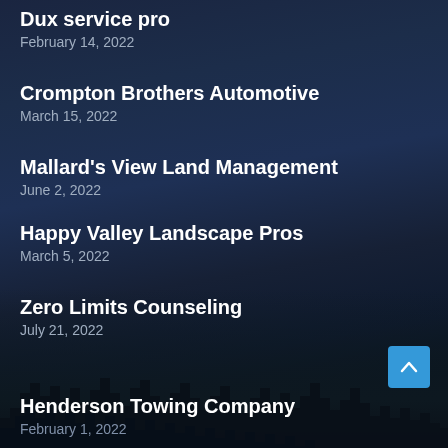Dux service pro
February 14, 2022
Crompton Brothers Automotive
March 15, 2022
Mallard's View Land Management
June 2, 2022
Happy Valley Landscape Pros
March 5, 2022
Zero Limits Counseling
July 21, 2022
Henderson Towing Company
February 1, 2022